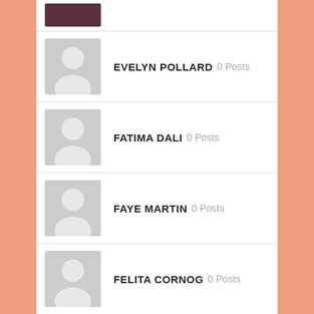[Figure (photo): Partial user avatar photo at top of page, cropped]
EVELYN POLLARD 0 Posts
FATIMA DALI 0 Posts
FAYE MARTIN 0 Posts
FELITA CORNOG 0 Posts
FIONA CROMARTY 0 Posts